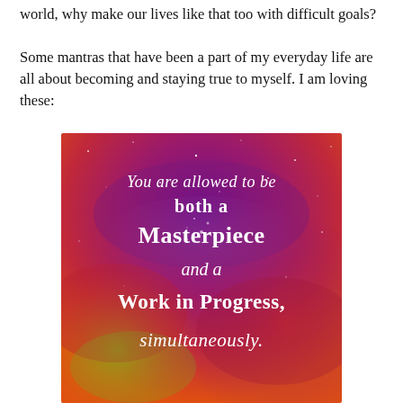world, why make our lives like that too with difficult goals? Some mantras that have been a part of my everyday life are all about becoming and staying true to myself. I am loving these:
[Figure (illustration): Colorful galaxy/nebula background image with white handwritten-style text reading: 'You are allowed to be both a Masterpiece and a Work in Progress, simultaneously.']